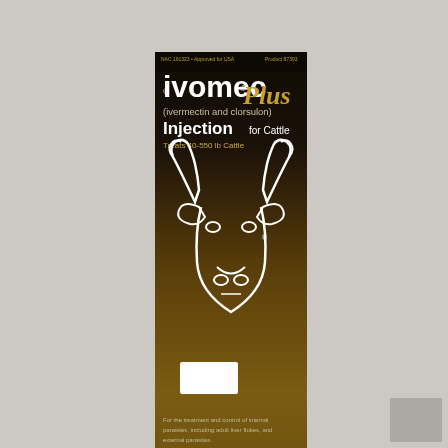[Figure (photo): Product photo of Ivomec Plus (ivermectin and clorsulon) Injection for Cattle 200 mL box. Dark brown/gold gradient box with white bull head logo. Text reads: ivomec Plus (ivermectin and clorsulon) Injection for Cattle, Treats 40-550 lb Cattle, 200 mL, Merial logo. For the treatment and control of internal parasites, including adult liver flukes, and external parasites.]